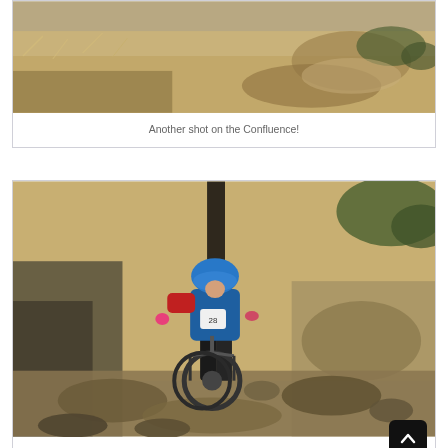[Figure (photo): Mountain bike trail photo cropped at top — dry golden grass, dusty dirt trail, shrubs, top portion of frame only]
Another shot on the Confluence!
[Figure (photo): Mountain biker in blue jacket, red sleeves, and blue helmet riding down a rocky, steep trail with dry golden grass hillside in background]
This was our last stage, Rocky.